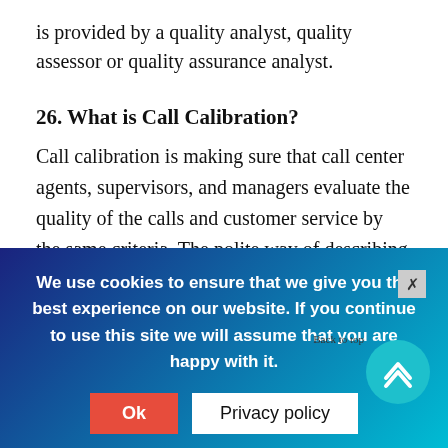is provided by a quality analyst, quality assessor or quality assurance analyst.
26. What is Call Calibration?
Call calibration is making sure that call center agents, supervisors, and managers evaluate the quality of the calls and customer service by the same criteria. The polite way of describing it to make sure everybody is singing from the sa…
We use cookies to ensure that we give you the best experience on our website. If you continue to use this site we will assume that you are happy with it.